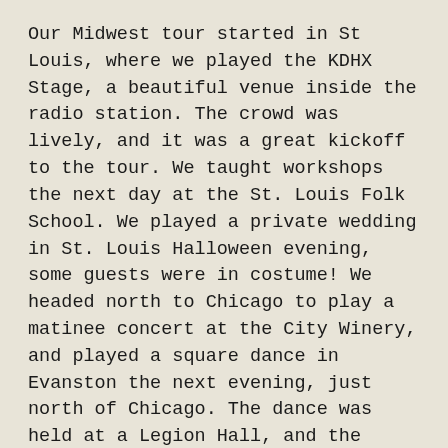Our Midwest tour started in St Louis, where we played the KDHX Stage, a beautiful venue inside the radio station. The crowd was lively, and it was a great kickoff to the tour. We taught workshops the next day at the St. Louis Folk School. We played a private wedding in St. Louis Halloween evening, some guests were in costume! We headed north to Chicago to play a matinee concert at the City Winery, and played a square dance in Evanston the next evening, just north of Chicago. The dance was held at a Legion Hall, and the floor was full of dancers. It is always rejuvenating to play a dance. Our music is dance music after all, and it feels good at some level to play the music as it was intended every so often.
We headed up to Cedar Rapids Iowa and played at the Legion Arts Hall, a historic building built in 1891. It started out as a Czech Presbyterian Community Center, and now it is a center for the arts. In the mean time, it had a few